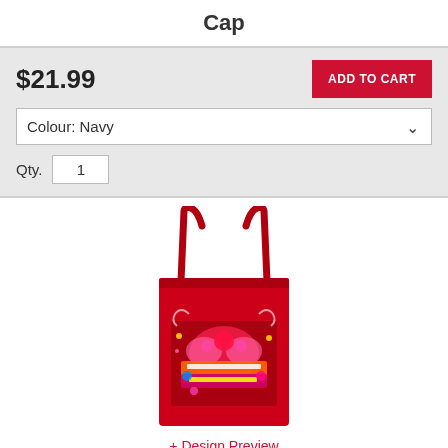Cap
$21.99
ADD TO CART
Colour: Navy
Qty. 1
[Figure (photo): A red tote bag with a colorful graphic design featuring text 'PHILIP WINTERS IS MY #STAGESTAN' on the front]
+ Design Preview
Tote Bag